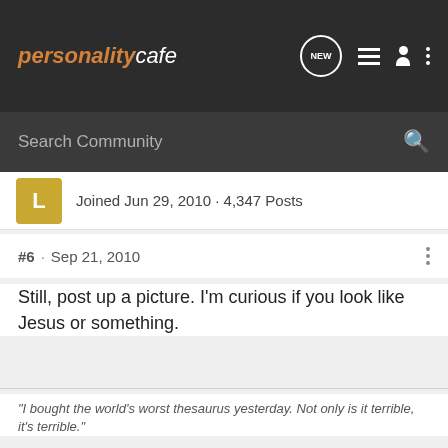personalitycafe
Search Community
Joined Jun 29, 2010 · 4,347 Posts
#6 · Sep 21, 2010
Still, post up a picture. I'm curious if you look like Jesus or something.
"I bought the world's worst thesaurus yesterday. Not only is it terrible, it's terrible."
Vox Impopuli, manar, Syrinx and 1 other person